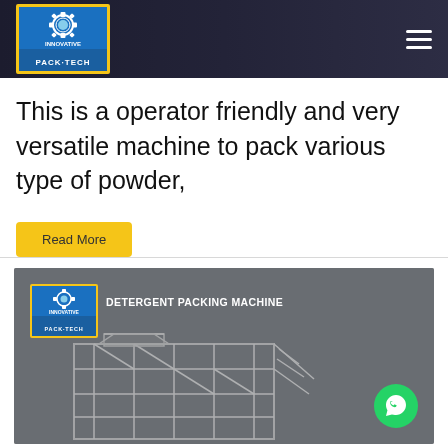Innovative Pack-Tech navigation bar with logo and hamburger menu
This is a operator friendly and very versatile machine to pack various type of powder,
Read More
[Figure (photo): Detergent Packing Machine product image with logo overlay and machine framework structure in gray background]
DETERGENT PACKING MACHINE